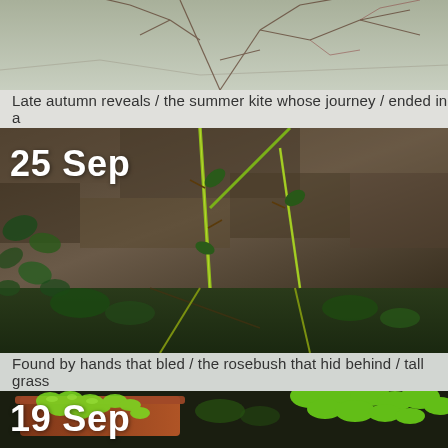[Figure (photo): Tree branches in late autumn against a muted sky, tangled bare branches with traces of red/brown]
Late autumn reveals / the summer kite whose journey / ended in a
[Figure (photo): Close-up of a rosebush stem with thorns growing against a dark rocky wall, with ivy leaves visible, date label 25 Sep overlaid]
Found by hands that bled / the rosebush that hid behind / tall grass
[Figure (photo): Young seedlings in terracotta pots with bright green leaves, date label 19 Sep overlaid]